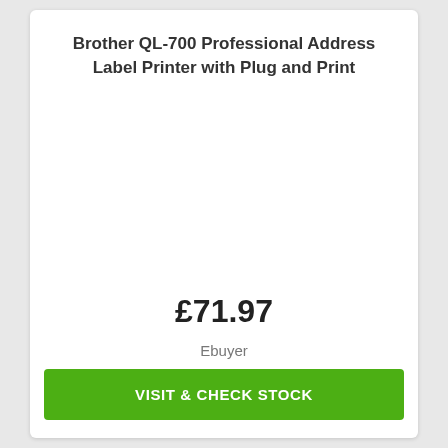Brother QL-700 Professional Address Label Printer with Plug and Print
[Figure (other): Empty white space representing product image area]
£71.97
Ebuyer
VISIT & CHECK STOCK